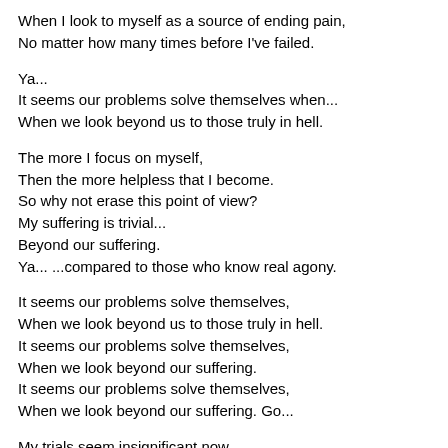When I look to myself as a source of ending pain,
No matter how many times before I've failed.

Ya...
It seems our problems solve themselves when...
When we look beyond us to those truly in hell.

The more I focus on myself,
Then the more helpless that I become.
So why not erase this point of view?
My suffering is trivial...
Beyond our suffering.
Ya... ...compared to those who know real agony.

It seems our problems solve themselves,
When we look beyond us to those truly in hell.
It seems our problems solve themselves,
When we look beyond our suffering.
It seems our problems solve themselves,
When we look beyond our suffering. Go...

My trials seem insignificant now,